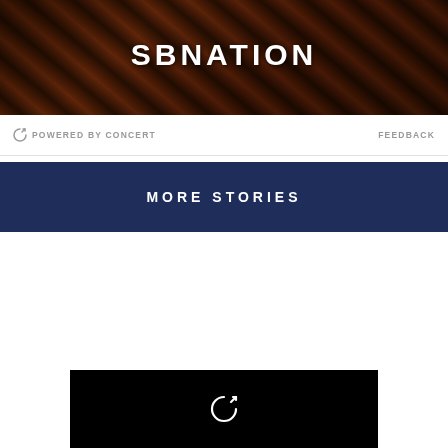[Figure (photo): SBNation logo overlaid on dark food/BBQ background image]
POWERED BY CONCERT    FEEDBACK
MORE STORIES
[Figure (other): Black video player area with replay/refresh icon in center]